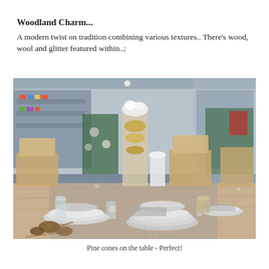Woodland Charm...
A modern twist on tradition combining various textures.. There's wood, wool and glitter featured within..;
[Figure (photo): A festive Christmas table setting with pine cones, white and gold decorations, plates, bowls, glasses, and a tall vase with ornaments. Wooden chairs surround the table set in what appears to be a store display.]
Pine cones on the table - Perfect!